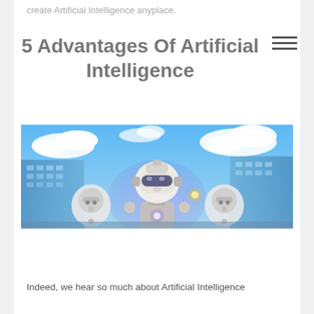create Artificial Intelligence anyplace.
5 Advantages Of Artificial Intelligence
[Figure (photo): A futuristic robot/AI figure with a white humanoid head and goggles, surrounded by smaller robot heads, glowing lights, blue sky with clouds, and tall glass skyscrapers in the background.]
Indeed, we hear so much about Artificial Intelligence